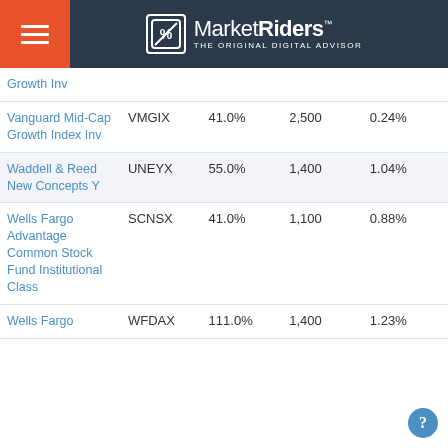MarketRiders — THE ORIGINAL DIGITAL ADVISOR
| Fund Name | Ticker | Expense Ratio / % | Min Investment | Expense % |
| --- | --- | --- | --- | --- |
| Growth Inv |  |  |  |  |
| Vanguard Mid-Cap Growth Index Inv | VMGIX | 41.0% | 2,500 | 0.24% |
| Waddell & Reed New Concepts Y | UNEYX | 55.0% | 1,400 | 1.04% |
| Wells Fargo Advantage Common Stock Fund Institutional Class | SCNSX | 41.0% | 1,100 | 0.88% |
| Wells Fargo | WFDAX | 111.0% | 1,400 | 1.23% |